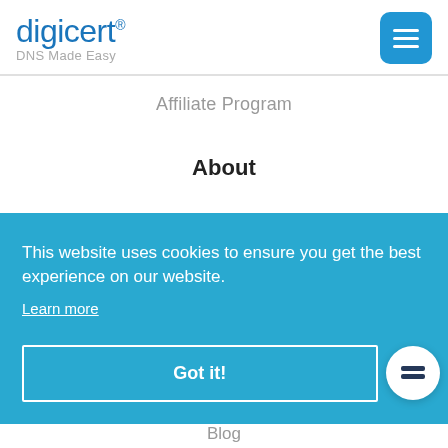[Figure (logo): DigiCert logo with 'DNS Made Easy' tagline and blue menu button]
Affiliate Program
About
This website uses cookies to ensure you get the best experience on our website. Learn more
Got it!
Blog